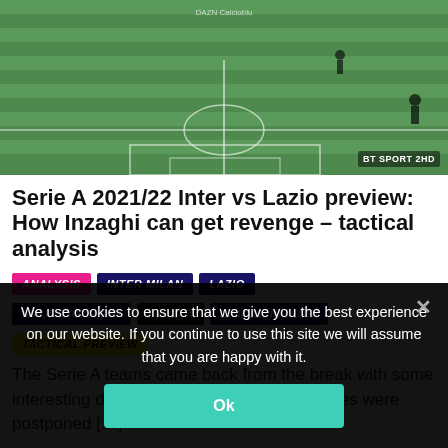[Figure (screenshot): Football pitch screenshot from a BT Sport broadcast showing players on a green football field, with a DT Sport 2HD watermark in bottom right.]
Serie A 2021/22 Inter vs Lazio preview: How Inzaghi can get revenge – tactical analysis
ANALYSIS
INTER MILAN
LAZIO
MAURIZIO SARRI
SERIE A
SIMONE INZAGHI
TACTICAL PREVIEW
The Serie A teams came back from the break with some interesting displays. While some of the games were postponed […]
We use cookies to ensure that we give you the best experience on our website. If you continue to use this site we will assume that you are happy with it.
Ok